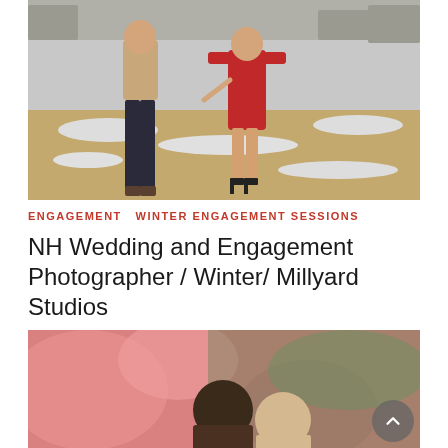[Figure (photo): Couple holding hands walking in a snowy field. Man in tan sweater and dark jeans, woman in red dress and black heels.]
ENGAGEMENT  WINTER ENGAGEMENT SESSIONS
NH Wedding and Engagement Photographer / Winter/ Millyard Studios
[Figure (photo): Couple in close romantic pose with blurred pink and green bokeh background.]